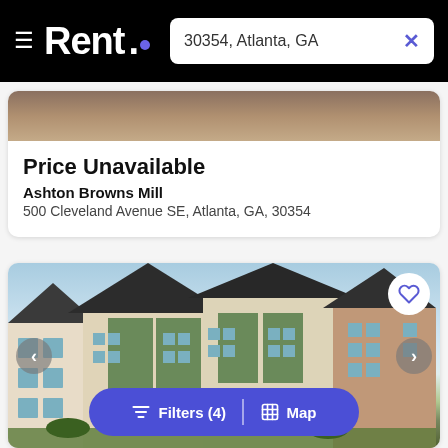Rent. | 30354, Atlanta, GA
Price Unavailable
Ashton Browns Mill
500 Cleveland Avenue SE, Atlanta, GA, 30354
[Figure (photo): Apartment complex exterior photo showing multi-story buildings with green, beige, and brick facades under blue sky]
Filters (4)
Map